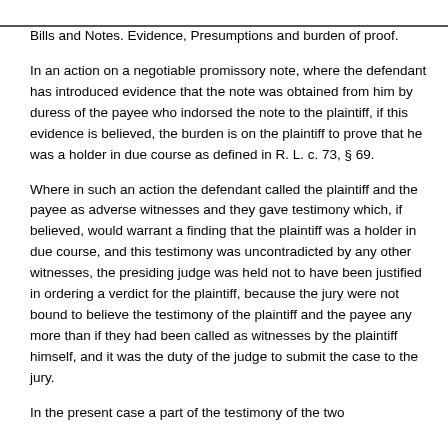Bills and Notes. Evidence, Presumptions and burden of proof.
Bills and Notes. Evidence, Presumptions and burden of proof.
In an action on a negotiable promissory note, where the defendant has introduced evidence that the note was obtained from him by duress of the payee who indorsed the note to the plaintiff, if this evidence is believed, the burden is on the plaintiff to prove that he was a holder in due course as defined in R. L. c. 73, § 69.
Where in such an action the defendant called the plaintiff and the payee as adverse witnesses and they gave testimony which, if believed, would warrant a finding that the plaintiff was a holder in due course, and this testimony was uncontradicted by any other witnesses, the presiding judge was held not to have been justified in ordering a verdict for the plaintiff, because the jury were not bound to believe the testimony of the plaintiff and the payee any more than if they had been called as witnesses by the plaintiff himself, and it was the duty of the judge to submit the case to the jury.
In the present case a part of the testimony of the two